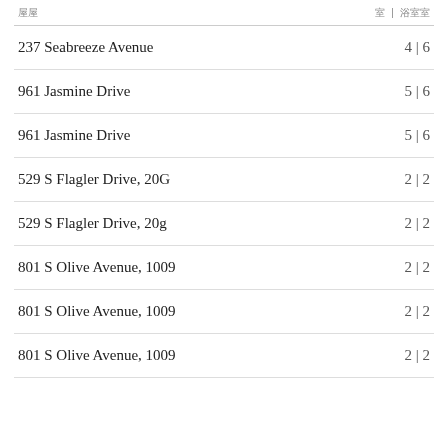| 주소 | 침 | 욕실 |
| --- | --- |
| 237 Seabreeze Avenue | 4 | 6 |
| 961 Jasmine Drive | 5 | 6 |
| 961 Jasmine Drive | 5 | 6 |
| 529 S Flagler Drive, 20G | 2 | 2 |
| 529 S Flagler Drive, 20g | 2 | 2 |
| 801 S Olive Avenue, 1009 | 2 | 2 |
| 801 S Olive Avenue, 1009 | 2 | 2 |
| 801 S Olive Avenue, 1009 | 2 | 2 |